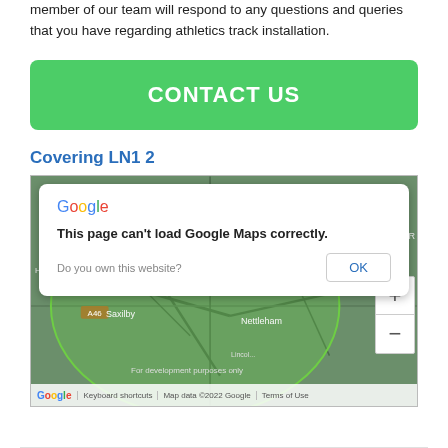member of our team will respond to any questions and queries that you have regarding athletics track installation.
[Figure (other): Green rounded rectangle button with white bold text 'CONTACT US']
Covering LN1 2
[Figure (map): Embedded Google Maps view showing area around Lincoln, LN1 2 postcode with a green circle overlay. A Google Maps error dialog is shown: 'This page can't load Google Maps correctly.' with 'Do you own this website?' text and an OK button. Map shows Saxilby, Nettleham, Lincoln. Map footer shows keyboard shortcuts, map data ©2022 Google, Terms of Use. Zoom controls visible on right.]